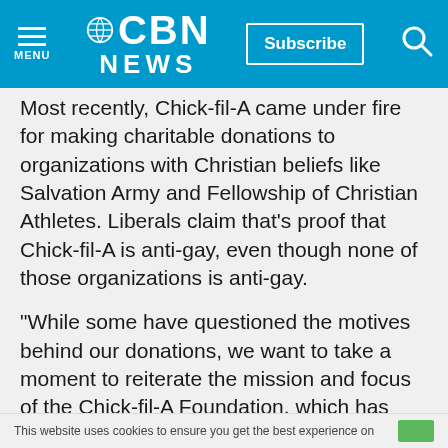CBN NEWS | Subscribe | MENU | Search
Most recently, Chick-fil-A came under fire for making charitable donations to organizations with Christian beliefs like Salvation Army and Fellowship of Christian Athletes. Liberals claim that's proof that Chick-fil-A is anti-gay, even though none of those organizations is anti-gay.
"While some have questioned the motives behind our donations, we want to take a moment to reiterate the mission and focus of the Chick-fil-A Foundation, which has always been and always will be to donate to programs that support a diverse array of youth and educational programs
This website uses cookies to ensure you get the best experience on